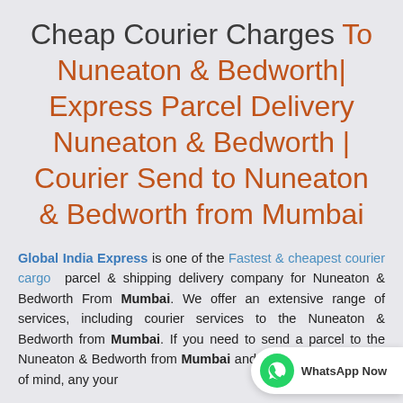Cheap Courier Charges To Nuneaton & Bedworth| Express Parcel Delivery Nuneaton & Bedworth | Courier Send to Nuneaton & Bedworth from Mumbai
Global India Express is one of the Fastest & cheapest courier cargo parcel & shipping delivery company for Nuneaton & Bedworth From Mumbai. We offer an extensive range of services, including courier services to the Nuneaton & Bedworth from Mumbai. If you need to send a parcel to the Nuneaton & Bedworth from Mumbai and want complete peace of mind, any your